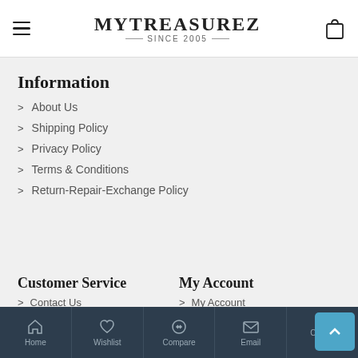MYTREASUREZ SINCE 2005
Information
About Us
Shipping Policy
Privacy Policy
Terms & Conditions
Return-Repair-Exchange Policy
Customer Service
Contact Us
My Account
My Account
Home  Wishlist  Compare  Email  Call us